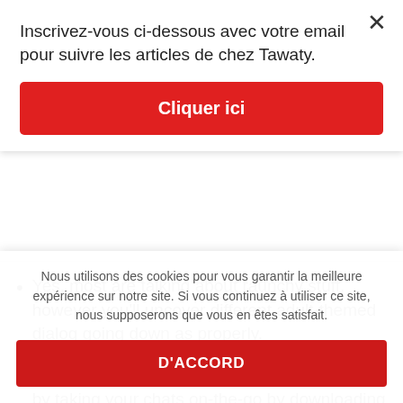Inscrivez-vous ci-dessous avec votre email pour suivre les articles de chez Tawaty.
[Figure (other): Red 'Cliquer ici' button]
Yes, most are talking about raunchy stuff, however you'll uncover different adult-themed dialog going down as properly.
You can improve your consumer experience by taking your chats on-the-go by downloading the ChatVille app from the
Nous utilisons des cookies pour vous garantir la meilleure expérience sur notre site. Si vous continuez à utiliser ce site, nous supposerons que vous en êtes satisfait.
[Figure (other): Red 'D'ACCORD' button]